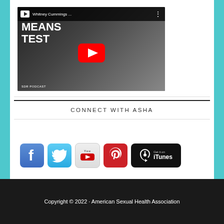[Figure (screenshot): YouTube video thumbnail showing 'Whitney Cummings...' title with Means Test podcast branding and a woman smiling on the right side. Red play button in center.]
CONNECT WITH ASHA
[Figure (infographic): Row of social media icons: Facebook, Twitter, YouTube, Pinterest, and Get it on iTunes badge]
Copyright © 2022 · American Sexual Health Association